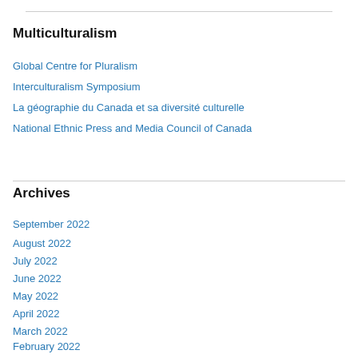Multiculturalism
Global Centre for Pluralism
Interculturalism Symposium
La géographie du Canada et sa diversité culturelle
National Ethnic Press and Media Council of Canada
Archives
September 2022
August 2022
July 2022
June 2022
May 2022
April 2022
March 2022
February 2022
January 2022